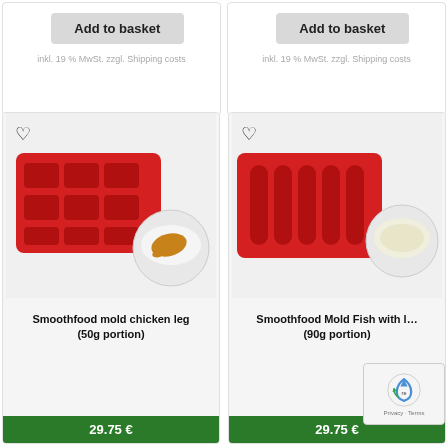Add to basket
inkl. 19 % MwSt. zzgl. Shipping costs
Add to basket
inkl. 19 % MwSt. zzgl. Shipping costs
[Figure (photo): Red silicone mold tray for chicken leg shapes with a small white bowl containing a chicken leg-shaped portion]
Smoothfood mold chicken leg (50g portion)
29.75 €
[Figure (photo): Red silicone mold tray for fish shapes with a small white bowl/lid containing a fish-shaped portion]
Smoothfood Mold Fish with l... (90g portion)
29.75 €